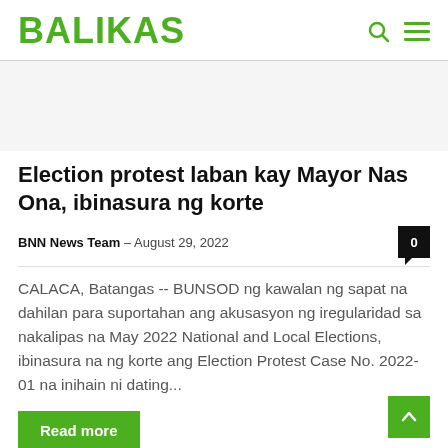BALIKAS
Election protest laban kay Mayor Nas Ona, ibinasura ng korte
BNN News Team – August 29, 2022
CALACA, Batangas -- BUNSOD ng kawalan ng sapat na dahilan para suportahan ang akusasyon ng iregularidad sa nakalipas na May 2022 National and Local Elections, ibinasura na ng korte ang Election Protest Case No. 2022-01 na inihain ni dating...
Read more